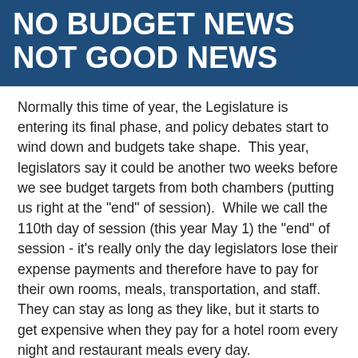NO BUDGET NEWS NOT GOOD NEWS
Normally this time of year, the Legislature is entering its final phase, and policy debates start to wind down and budgets take shape.  This year, legislators say it could be another two weeks before we see budget targets from both chambers (putting us right at the "end" of session).  While we call the 110th day of session (this year May 1) the "end" of session - it's really only the day legislators lose their expense payments and therefore have to pay for their own rooms, meals, transportation, and staff.  They can stay as long as they like, but it starts to get expensive when they pay for a hotel room every night and restaurant meals every day.
The first step in the budget process is for